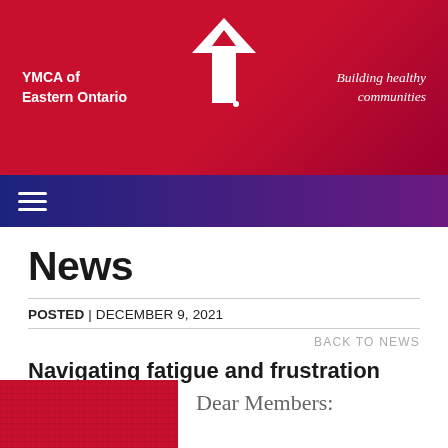YMCA of Eastern Ontario | Building healthy communities
[Figure (logo): YMCA Y logo in white on red background]
News
POSTED | DECEMBER 9, 2021
BACK TO NEWS
Navigating fatigue and frustration
Rob's Blog
[Figure (photo): Red textured background image]
Dear Members: